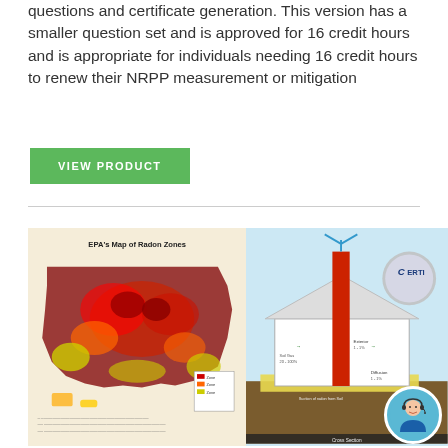questions and certificate generation. This version has a smaller question set and is approved for 16 credit hours and is appropriate for individuals needing 16 credit hours to renew their NRPP measurement or mitigation
VIEW PRODUCT
[Figure (illustration): Composite image showing EPA's Map of Radon Zones (a color-coded US map with heat map showing high/low radon zones) on the left, and a house cross-section diagram showing radon mitigation system with a vertical pipe and arrows indicating airflow, with a 'CERTI' logo/badge visible, on the right. A customer service representative avatar appears in the bottom-right corner.]